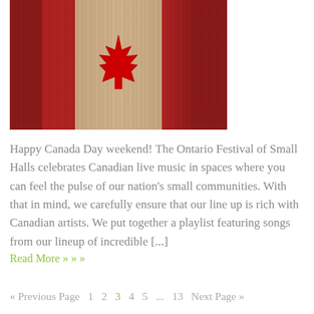[Figure (photo): Canadian maple leaf flag painted on wooden planks with red and natural wood colors]
Happy Canada Day weekend! The Ontario Festival of Small Halls celebrates Canadian live music in spaces where you can feel the pulse of our nation's small communities. With that in mind, we carefully ensure that our line up is rich with Canadian artists. We put together a playlist featuring songs from our lineup of incredible [...]
Read More » » »
« Previous Page  1  2  3  4  5  ...  13  Next Page »